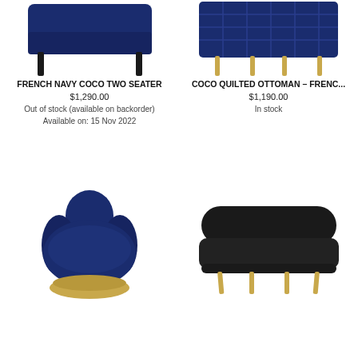[Figure (photo): French navy blue bench/sofa with black legs, top portion visible]
[Figure (photo): Coco quilted ottoman in french navy blue with gold legs, top portion visible]
FRENCH NAVY COCO TWO SEATER
$1,290.00
Out of stock (available on backorder)
Available on: 15 Nov 2022
COCO QUILTED OTTOMAN – FRENC...
$1,190.00
In stock
[Figure (photo): Round swivel accent chair in french navy blue velvet with gold base]
[Figure (photo): Black velvet sofa/bench with gold legs]